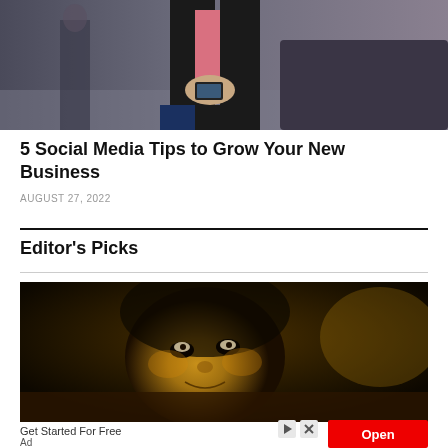[Figure (photo): Person in a pink shirt and black blazer holding a smartphone, partial body view from waist down, office/hallway background]
5 Social Media Tips to Grow Your New Business
AUGUST 27, 2022
Editor's Picks
[Figure (photo): Close-up of a man's face lit warmly, looking upward, dramatic low-light portrait]
Get Started For Free
Ad